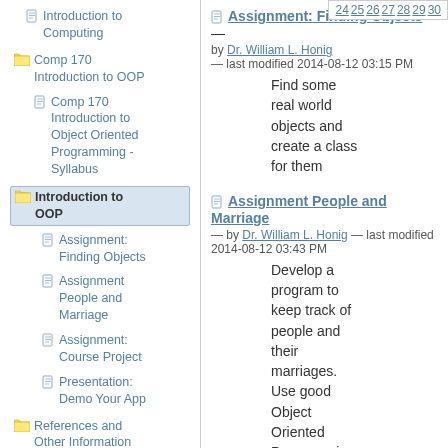Introduction to Computing
Comp 170 Introduction to OOP
Comp 170 Introduction to Object Oriented Programming - Syllabus
Introduction to OOP (active)
Assignment: Finding Objects
Assignment People and Marriage
Assignment: Course Project
Presentation: Demo Your App
References and Other Information
24 25 26 27 28 29 30
Assignment: Finding Objects — by Dr. William L. Honig — last modified 2014-08-12 03:15 PM
Find some real world objects and create a class for them
Assignment People and Marriage — by Dr. William L. Honig — last modified 2014-08-12 03:43 PM
Develop a program to keep track of people and their marriages. Use good Object Oriented Programming